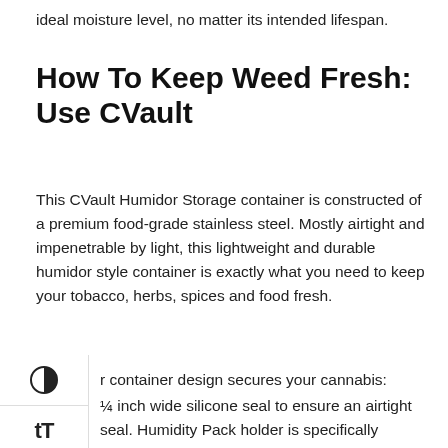ideal moisture level, no matter its intended lifespan.
How To Keep Weed Fresh: Use CVault
This CVault Humidor Storage container is constructed of a premium food-grade stainless steel. Mostly airtight and impenetrable by light, this lightweight and durable humidor style container is exactly what you need to keep your tobacco, herbs, spices and food fresh.
r container design secures your cannabis:
¼ inch wide silicone seal to ensure an airtight seal. Humidity Pack holder is specifically designed to hold your Boveda® Pak.